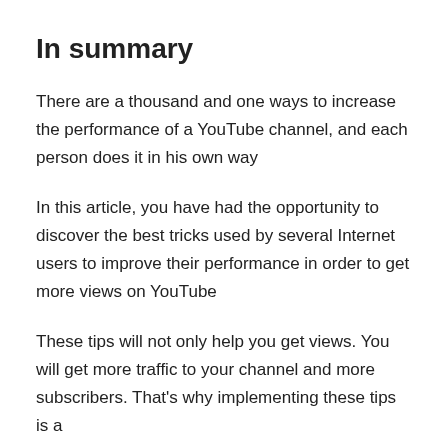In summary
There are a thousand and one ways to increase the performance of a YouTube channel, and each person does it in his own way
In this article, you have had the opportunity to discover the best tricks used by several Internet users to improve their performance in order to get more views on YouTube
These tips will not only help you get views. You will get more traffic to your channel and more subscribers. That's why implementing these tips is a